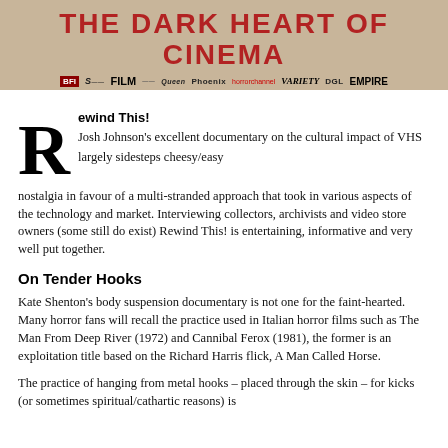[Figure (illustration): Banner header reading THE DARK HEART OF CINEMA with logos including Film, Queen, Phoenix, horrorchannel, Variety, DGL, Empire on a textured tan/cream background]
Rewind This!
Josh Johnson's excellent documentary on the cultural impact of VHS largely sidesteps cheesy/easy nostalgia in favour of a multi-stranded approach that took in various aspects of the technology and market. Interviewing collectors, archivists and video store owners (some still do exist) Rewind This! is entertaining, informative and very well put together.
On Tender Hooks
Kate Shenton's body suspension documentary is not one for the faint-hearted. Many horror fans will recall the practice used in Italian horror films such as The Man From Deep River (1972) and Cannibal Ferox (1981), the former is an exploitation title based on the Richard Harris flick, A Man Called Horse.
The practice of hanging from metal hooks – placed through the skin – for kicks (or sometimes spiritual/cathartic reasons) is something you will have to see to understand. The performance art...